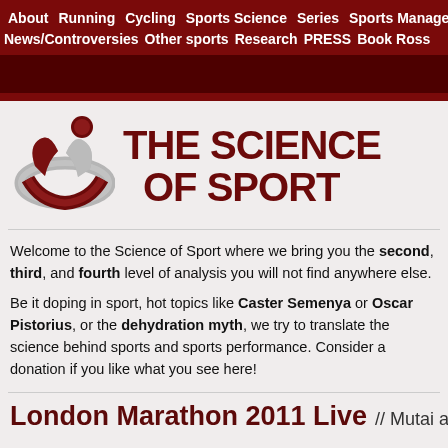About  Running  Cycling  Sports Science  Series  Sports Management  News/Controversies  Other sports  Research  PRESS  Book Ross
[Figure (logo): The Science of Sport logo with a stylized athletic figure in dark red and silver, alongside bold dark red text reading 'THE SCIENCE OF SPORT']
Welcome to the Science of Sport where we bring you the second, third, and fourth level of analysis you will not find anywhere else.
Be it doping in sport, hot topics like Caster Semenya or Oscar Pistorius, or the dehydration myth, we try to translate the science behind sports and sports performance. Consider a donation if you like what you see here!
London Marathon 2011 Live // Mutai and